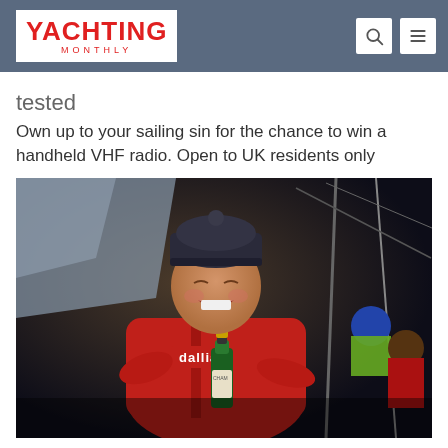YACHTING MONTHLY
tested
Own up to your sailing sin for the chance to win a handheld VHF radio. Open to UK residents only
[Figure (photo): A person in a red sailing jacket with 'dallia' written on it, wearing a dark beanie hat, laughing and holding a champagne bottle. There are other people and sailing equipment visible in the background.]